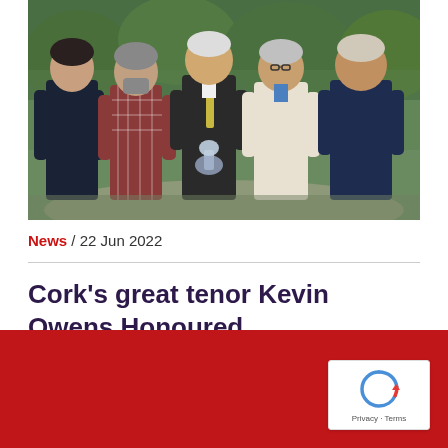[Figure (photo): Five men standing outdoors in front of green shrubbery. The man in the centre is holding a glass award trophy. They are dressed casually to semi-formally.]
News / 22 Jun 2022
Cork's great tenor Kevin Owens Honoured